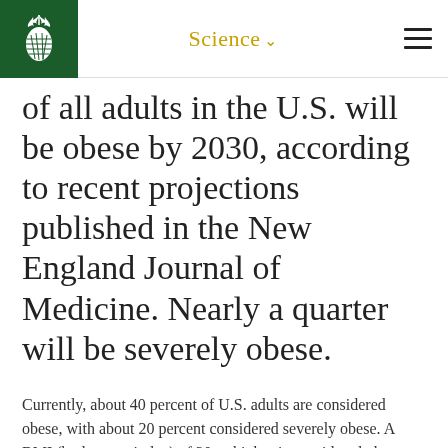Science
of all adults in the U.S. will be obese by 2030, according to recent projections published in the New England Journal of Medicine. Nearly a quarter will be severely obese.
Currently, about 40 percent of U.S. adults are considered obese, with about 20 percent considered severely obese. A BMI (body mass index) of 30 or higher is considered obese.  But to be a candidate for weight-loss surgery, a BMI is generally 35 or higher. Obesity is a serious disease that affects a person's physical, mental and emotional well-being. It puts an individual at a much higher risk of serious chronic diseases and some cancers.
Alfredo Rios, 54, weighed 310 pounds before starting a